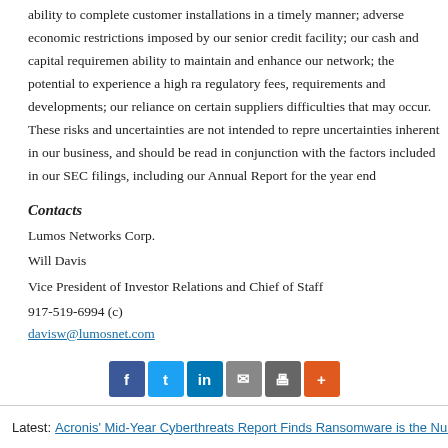ability to complete customer installations in a timely manner; adverse economic restrictions imposed by our senior credit facility; our cash and capital requirements; ability to maintain and enhance our network; the potential to experience a high rate of regulatory fees, requirements and developments; our reliance on certain suppliers and difficulties that may occur. These risks and uncertainties are not intended to represent all uncertainties inherent in our business, and should be read in conjunction with the risk factors included in our SEC filings, including our Annual Report for the year end
Contacts
Lumos Networks Corp.
Will Davis
Vice President of Investor Relations and Chief of Staff
917-519-6994 (c)
davisw@lumosnet.com
[Figure (infographic): Social sharing buttons: Facebook (blue), Twitter (light blue), LinkedIn (dark blue), Email (gray), Print (dark gray), More (orange)]
PR Archives: Latest, By Company, By Date
Latest: Acronis' Mid-Year Cyberthreats Report Finds Ransomware is the Number